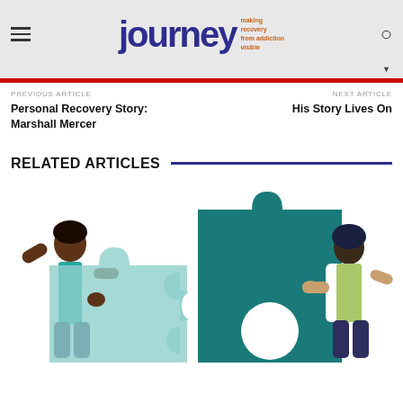journey — making recovery from addiction visible
PREVIOUS ARTICLE
Personal Recovery Story: Marshall Mercer
NEXT ARTICLE
His Story Lives On
RELATED ARTICLES
[Figure (illustration): Two figures holding large puzzle pieces together — an illustration representing collaboration and recovery support. The puzzle pieces are teal/dark teal colored. The figures appear to be medical/healthcare workers in white coats.]